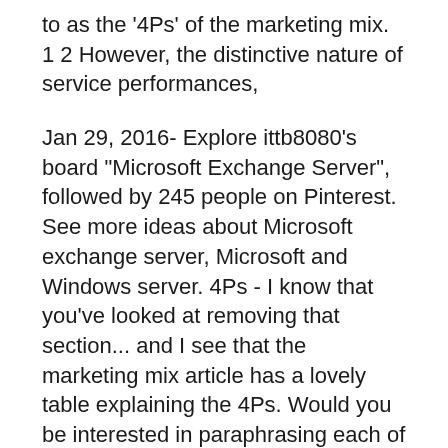to as the '4Ps' of the marketing mix. 1 2 However, the distinctive nature of service performances,
Jan 29, 2016- Explore ittb8080's board "Microsoft Exchange Server", followed by 245 people on Pinterest. See more ideas about Microsoft exchange server, Microsoft and Windows server. 4Ps - I know that you've looked at removing that section... and I see that the marketing mix article has a lovely table explaining the 4Ps. Would you be interested in paraphrasing each of the Ps into shorter sentences based upon this info: "A product is any good, service, or mixture of goods and services that is being offered to